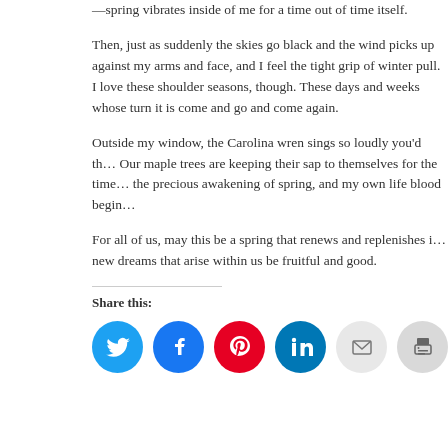—spring vibrates inside of me for a time out of time itself.
Then, just as suddenly the skies go black and the wind picks up against my arms and face, and I feel the tight grip of winter pull. I love these shoulder seasons, though. These days and weeks whose turn it is come and go and come again.
Outside my window, the Carolina wren sings so loudly you'd th… Our maple trees are keeping their sap to themselves for the time… the precious awakening of spring, and my own life blood begin…
For all of us, may this be a spring that renews and replenishes i… new dreams that arise within us be fruitful and good.
Share this:
[Figure (infographic): Row of social media share icons: Twitter (blue), Facebook (blue), Pinterest (red), LinkedIn (teal), Email (light gray), Print (gray)]